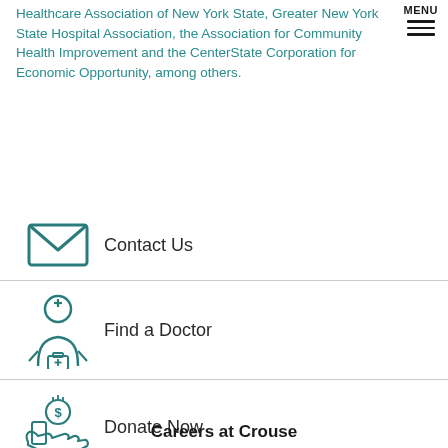Healthcare Association of New York State, Greater New York State Hospital Association, the Association for Community Health Improvement and the CenterState Corporation for Economic Opportunity, among others.
[Figure (infographic): MENU hamburger icon (three horizontal lines)]
[Figure (infographic): Envelope/mail icon with teal border]
Contact Us
[Figure (infographic): Doctor/nurse figure icon with medical cross on hat and bag]
Find a Doctor
[Figure (infographic): Hand holding a coin/money bag with dollar sign icon]
Donate Now
Careers at Crouse